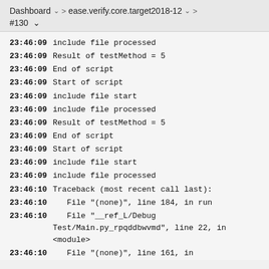Dashboard  >  ease.verify.core.target2018-12  >  #130
23:46:09  include file processed
23:46:09  Result of testMethod = 5
23:46:09  End of script
23:46:09  Start of script
23:46:09  include file start
23:46:09  include file processed
23:46:09  Result of testMethod = 5
23:46:09  End of script
23:46:09  Start of script
23:46:09  include file start
23:46:09  include file processed
23:46:10  Traceback (most recent call last):
23:46:10     File "(none)", line 184, in run
23:46:10     File "__ref_L/Debug Test/Main.py_rpqddbwvmd", line 22, in <module>
23:46:10     File "(none)", line 161, in